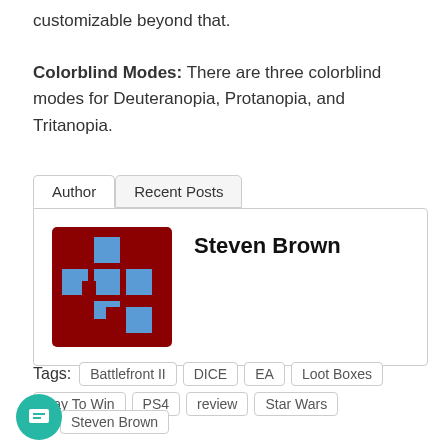customizable beyond that.
Colorblind Modes: There are three colorblind modes for Deuteranopia, Protanopia, and Tritanopia.
[Figure (other): Author tab card with avatar image (stylized red and blue pixel art logo) and author name Steven Brown. Tabs: Author (active), Recent Posts.]
Tags: Battlefront II  DICE  EA  Loot Boxes  Pay To Win  PS4  review  Star Wars  Steven Brown